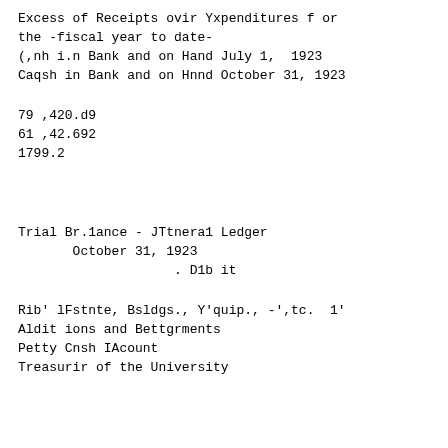Excess of Receipts ovir Yxpenditures f or
the -fiscal year to date-
(,nh i.n Bank and on Hand July 1, 1923
Caqsh in Bank and on Hnnd October 31, 1923
79 ,420.d9
61 ,42.692
1799.2
Trial Br.1ance - JTtnera1 Ledger
       October 31, 1923
                    . D1b it
Rib' lFstnte, Bsldgs., Y'quip., -',tc.  1'
Aldit ions and Bettgrments
Petty Cnsh IAcount
Treasurir of the University